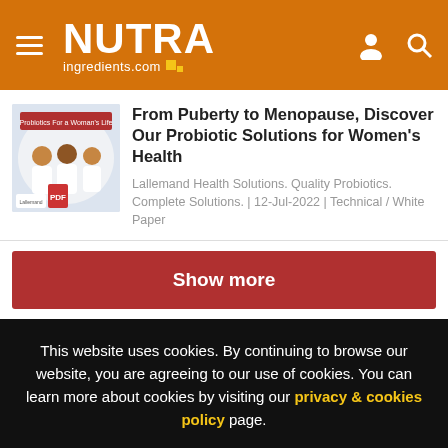NUTRA ingredients.com
From Puberty to Menopause, Discover Our Probiotic Solutions for Women's Health
Lallemand Health Solutions. Quality Probiotics. Complete Solutions. | 12-Jul-2022 | Technical / White Paper
Show more
This website uses cookies. By continuing to browse our website, you are agreeing to our use of cookies. You can learn more about cookies by visiting our privacy & cookies policy page.
I Agree